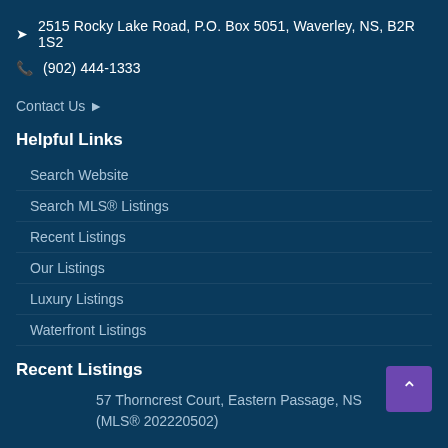2515 Rocky Lake Road, P.O. Box 5051, Waverley, NS, B2R 1S2
(902) 444-1333
Contact Us ▶
Helpful Links
Search Website
Search MLS® Listings
Recent Listings
Our Listings
Luxury Listings
Waterfront Listings
Recent Listings
57 Thorncrest Court, Eastern Passage, NS (MLS® 202220502)